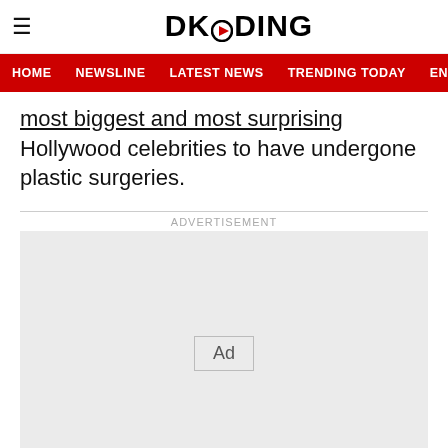DKODING
HOME   NEWSLINE   LATEST NEWS   TRENDING TODAY   ENT
most biggest and most surprising Hollywood celebrities to have undergone plastic surgeries.
ADVERTISEMENT
[Figure (other): Advertisement placeholder box with 'Ad' label]